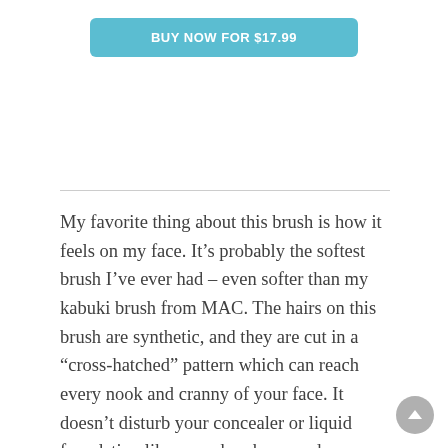BUY NOW FOR $17.99
My favorite thing about this brush is how it feels on my face. It’s probably the softest brush I’ve ever had – even softer than my kabuki brush from MAC. The hairs on this brush are synthetic, and they are cut in a “cross-hatched” pattern which can reach every nook and cranny of your face. It doesn’t disturb your concealer or liquid foundation like some brushes can do. Compared to my other brushes, I can definitely see a difference – the Darac brush gives me a much smoother and flawless finish.